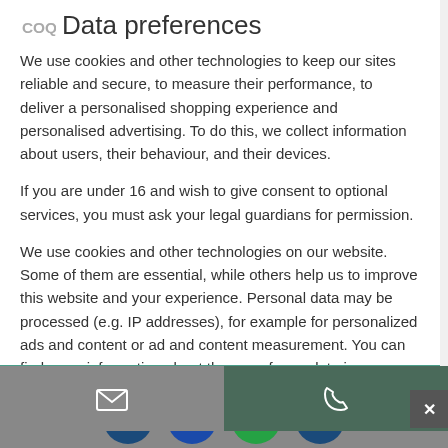Data preferences
We use cookies and other technologies to keep our sites reliable and secure, to measure their performance, to deliver a personalised shopping experience and personalised advertising. To do this, we collect information about users, their behaviour, and their devices.
If you are under 16 and wish to give consent to optional services, you must ask your legal guardians for permission.
We use cookies and other technologies on our website. Some of them are essential, while others help us to improve this website and your experience. Personal data may be processed (e.g. IP addresses), for example for personalized ads and content or ad and content measurement. You can find more information about the use of your data in our privacy
Essenziell
Externe Medien
[Figure (screenshot): Cookie consent modal overlay with logo, text, checkboxes for Essenziell and Externe Medien, and a green accept button. Below are a contact bar with email and phone icons, and social media buttons for LinkedIn, Facebook, WhatsApp, and Twitter.]